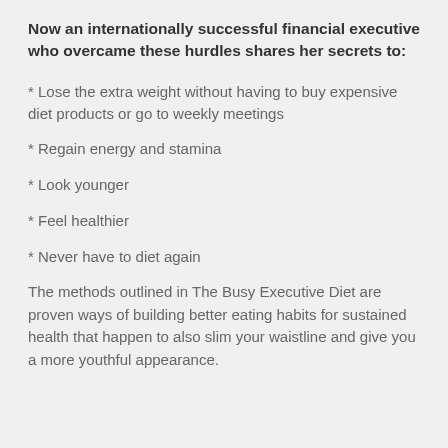Now an internationally successful financial executive who overcame these hurdles shares her secrets to:
* Lose the extra weight without having to buy expensive diet products or go to weekly meetings
* Regain energy and stamina
* Look younger
* Feel healthier
* Never have to diet again
The methods outlined in The Busy Executive Diet are proven ways of building better eating habits for sustained health that happen to also slim your waistline and give you a more youthful appearance.